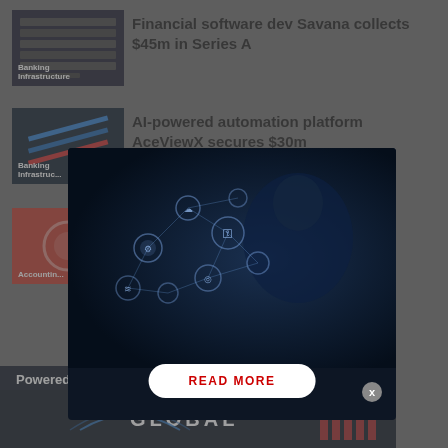[Figure (photo): Banking Infrastructure thumbnail - dark shelves/servers]
Financial software dev Savana collects $45m in Series A
[Figure (photo): Banking Infrastructure thumbnail - credit cards diagonal]
AI-powered automation platform AceViewX secures $30m
[Figure (photo): Accounting thumbnail - red background with circle]
...as
[Figure (photo): Modal popup with tech/AI network illustration showing person with floating IoT icons]
READ MORE
x
Powered by Convert Pro
[Figure (photo): GLOBAL logo/banner at bottom]